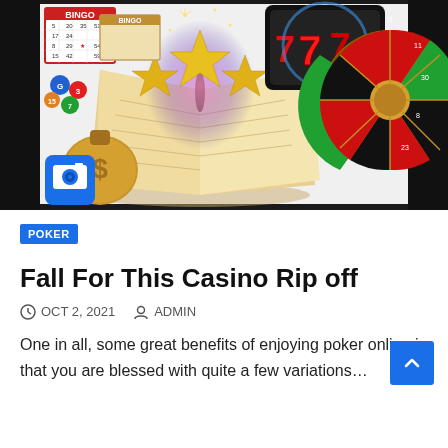[Figure (illustration): Casino-themed collage: bingo cards and balls on the left, a slot machine showing 777 in the center-top, a roulette wheel on the right, an open book with magical glowing stars emanating from it in the center, and a money bag with dollar sign and gold coins in the lower left. A blue camera icon badge is overlaid in the lower-left area.]
POKER
Fall For This Casino Rip off
OCT 2, 2021   ADMIN
One in all, some great benefits of enjoying poker online is that you are blessed with quite a few variations…